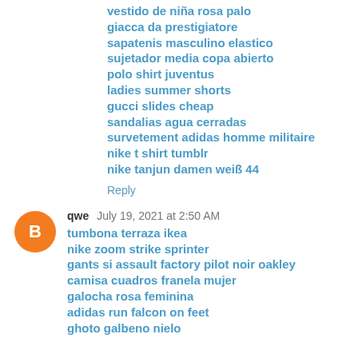vestido de niña rosa palo
giacca da prestigiatore
sapatenis masculino elastico
sujetador media copa abierto
polo shirt juventus
ladies summer shorts
gucci slides cheap
sandalias agua cerradas
survetement adidas homme militaire
nike t shirt tumblr
nike tanjun damen weiß 44
Reply
qwe  July 19, 2021 at 2:50 AM
tumbona terraza ikea
nike zoom strike sprinter
gants si assault factory pilot noir oakley
camisa cuadros franela mujer
galocha rosa feminina
adidas run falcon on feet
ghoto galbeno nielo